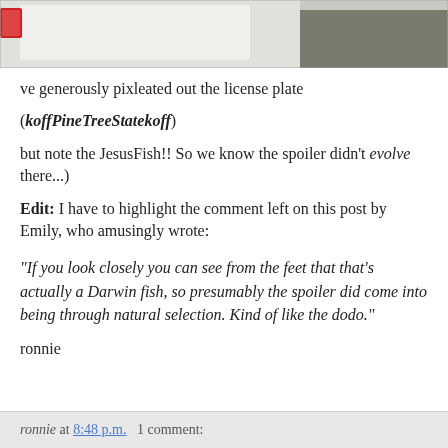[Figure (photo): Photo of the rear of a white car showing a tail light and trunk area, with asphalt visible in background.]
ve generously pixleated out the license plate
(koffPineTreeStatekoff)
but note the JesusFish!! So we know the spoiler didn't evolve there...)
Edit: I have to highlight the comment left on this post by Emily, who amusingly wrote:
"If you look closely you can see from the feet that that's actually a Darwin fish, so presumably the spoiler did come into being through natural selection. Kind of like the dodo."
ronnie
ronnie at 8:48 p.m.   1 comment: